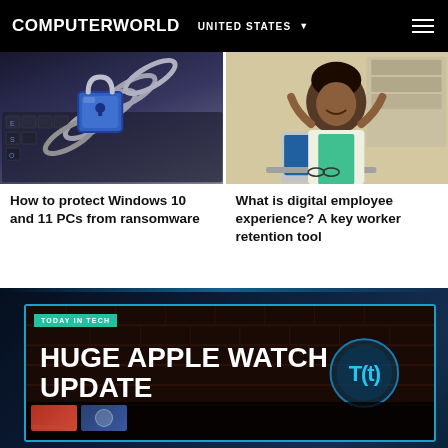COMPUTERWORLD  UNITED STATES
[Figure (photo): Keyboard with chain and padlock representing ransomware/cybersecurity threat]
How to protect Windows 10 and 11 PCs from ransomware
[Figure (photo): Smiling woman at office desk with laptop representing digital employee experience]
What is digital employee experience? A key worker retention tool
[Figure (screenshot): Video thumbnail with text HUGE APPLE WATCH UPDATE and TODAY IN TECH badge, T(t) logo, and thumbnail strip at bottom]